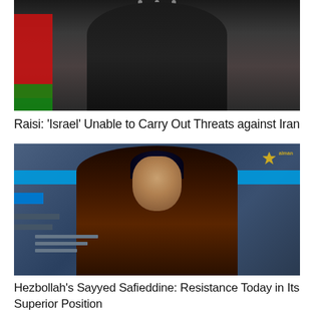[Figure (photo): Photo of a person in dark clerical robes standing at a podium with microphones, with an Iranian flag visible on the left side.]
Raisi: 'Israel' Unable to Carry Out Threats against Iran
[Figure (photo): Screenshot from Al-Manar TV showing a Shia cleric in dark robes and black turban, gesturing with his hands, against a blue studio background.]
Hezbollah's Sayyed Safieddine: Resistance Today in Its Superior Position